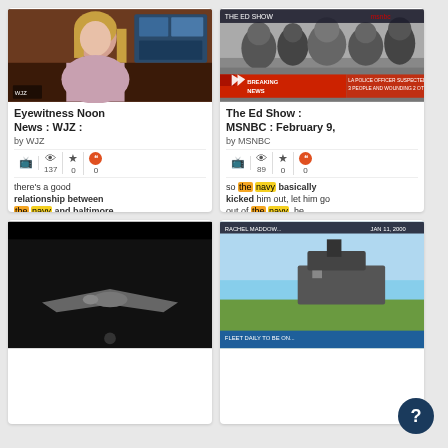[Figure (screenshot): Card 1: Eyewitness Noon News WJZ - news anchor woman in pink jacket, by WJZ, stats: TV icon, eye 137, star 0, quote 0. Snippet: there's a good relationship between the navy and baltimore. >> the reason it's]
[Figure (screenshot): Card 2: The Ed Show MSNBC February 9 - MSNBC breaking news screenshot with military personnel, by MSNBC, stats: TV icon, eye 89, star 0, quote 0. Snippet: so the navy basically kicked him out, let him go out of the navy. he blames the lapd not only]
[Figure (screenshot): Card 3 (bottom left): Dark background with stealth drone aircraft silhouette]
[Figure (screenshot): Card 4 (bottom right): Rachel Maddow show screenshot with military ship/vessel]